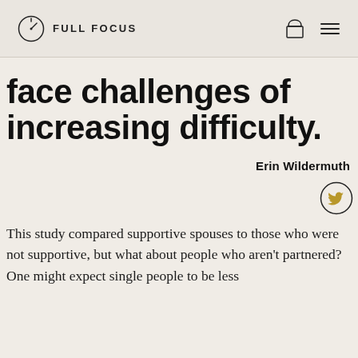FULL FOCUS
face challenges of increasing difficulty.
Erin Wildermuth
[Figure (logo): Twitter bird icon in a circle]
This study compared supportive spouses to those who were not supportive, but what about people who aren't partnered? One might expect single people to be less